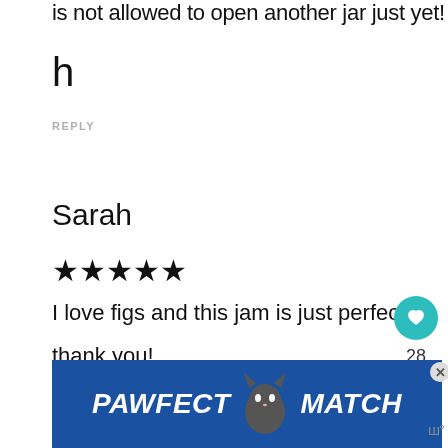is not allowed to open another jar just yet!
h
REPLY
Sarah
★★★★★
I love figs and this jam is just perfect.
thank you!
REPLY
[Figure (other): PAWFECT MATCH advertisement banner with a cat illustration]
28